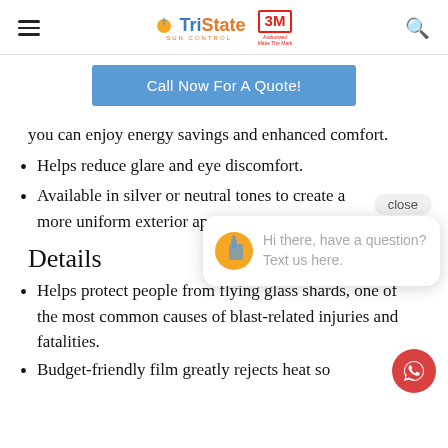TriState Sun Control | 3M Authorized | [Hamburger menu] [Search icon]
Call Now For A Quote!
you can enjoy energy savings and enhanced comfort.
Helps reduce glare and eye discomfort.
Available in silver or neutral tones to create a more uniform exterior appearance.
Details
Helps protect people from flying glass shards, one of the most common causes of blast-related injuries and fatalities.
Budget-friendly film greatly rejects heat so
[Figure (screenshot): Chat popup widget with sun control logo icon and text: Hi there, have a question? Text us here.]